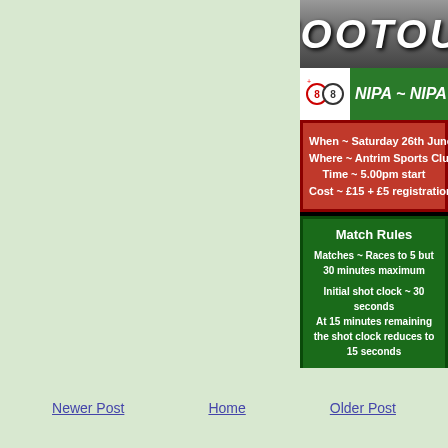[Figure (screenshot): SHOOTOUT banner with metallic gradient background, NIPA logo and green NIPA text bar, red event details box showing date/location/time/cost, and green match rules box with match and shot clock rules]
Newer Post   Home   Older Post